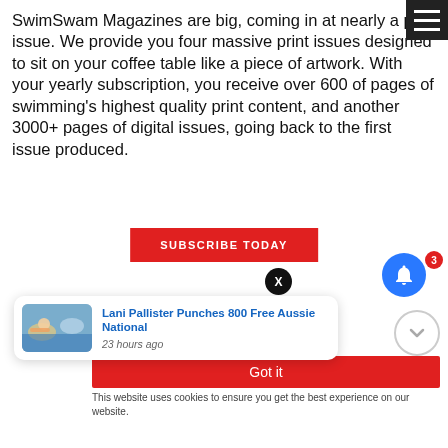[Figure (screenshot): Hamburger menu icon button in top-right corner, dark background with three white horizontal lines]
SwimSwam Magazines are big, coming in at nearly a per issue. We provide you four massive print issues designed to sit on your coffee table like a piece of artwork. With your yearly subscription, you receive over 600 of pages of swimming's highest quality print content, and another 3000+ pages of digital issues, going back to the first issue produced.
[Figure (screenshot): Red SUBSCRIBE TODAY button]
[Figure (screenshot): Black circular close (X) button]
[Figure (screenshot): Blue bell notification icon with red badge showing number 3]
[Figure (screenshot): Article notification card showing swimming photo and headline: Lani Pallister Punches 800 Free Aussie National, 23 hours ago]
[Figure (screenshot): Red Got it button for cookie/notification consent]
This website uses cookies to ensure you get the best experience on our website.